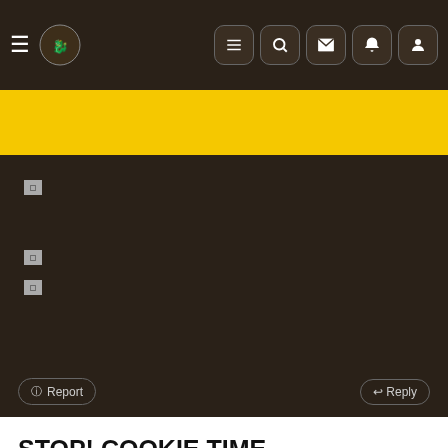Navigation bar with hamburger menu, logo, and icons for list, search, mail, notification, profile
[Figure (screenshot): Yellow banner strip below navigation]
[Figure (screenshot): Dark background content area with broken image icons and Report/Reply buttons]
STOP! COOKIE TIME
We use cookies (sadly not the edible ones) to personalise content and ads, to provide social media features and to analyse our traffic. We also share information about your use of our site with our social media, advertising and analytics partners who may combine it with other information that you've provided to them or that they've collected from your use of their services. You consent to our cookies if you continue to use this website.
✓ ACCEPT